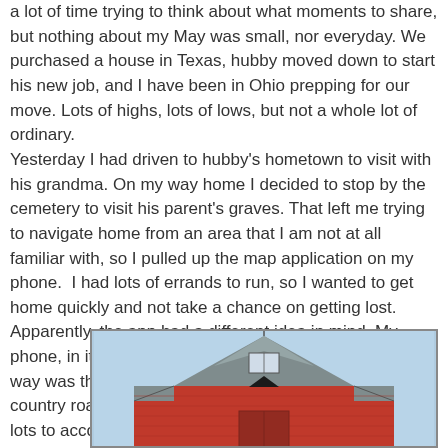a lot of time trying to think about what moments to share, but nothing about my May was small, nor everyday. We purchased a house in Texas, hubby moved down to start his new job, and I have been in Ohio prepping for our move. Lots of highs, lots of lows, but not a whole lot of ordinary.
Yesterday I had driven to hubby's hometown to visit with his grandma. On my way home I decided to stop by the cemetery to visit his parent's graves. That left me trying to navigate home from an area that I am not at all familiar with, so I pulled up the map application on my phone.  I had lots of errands to run, so I wanted to get home quickly and not take a chance on getting lost. Apparently, the app had a different idea in mind. My phone, in its infinite wisdom, decided that the shortest way was through a series of twisting and winding country roads. My first reaction was to get angry. I had lots to accomplish!  No time for this foolishness!
[Figure (photo): A red barn with a grey roof photographed against a light blue sky, partially cropped at the bottom of the page.]